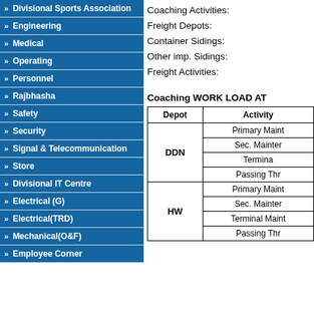Divisional Sports Association
Engineering
Medical
Operating
Personnel
Rajbhasha
Safety
Security
Signal & Telecommunication
Store
Divisional IT Centre
Electrical (G)
Electrical(TRD)
Mechanical(O&F)
Employee Corner
Coaching Activities:
Freight Depots:
Container Sidings:
Other imp. Sidings:
Freight Activities:
Coaching WORK LOAD AT
| Depot | Activity |
| --- | --- |
| DDN | Primary Maint |
| DDN | Sec. Mainter |
| DDN | Terminal |
| DDN | Passing Thr |
| HW | Primary Maint |
| HW | Sec. Mainter |
| HW | Terminal Maint |
| HW | Passing Thr |